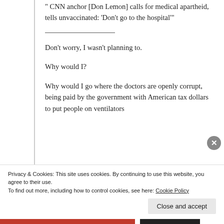CNN anchor [Don Lemon] calls for medical apartheid, tells unvaccinated: ‘Don’t go to the hospital’”
Don’t worry, I wasn’t planning to.
Why would I?
Why would I go where the doctors are openly corrupt, being paid by the government with American tax dollars to put people on ventilators
Privacy & Cookies: This site uses cookies. By continuing to use this website, you agree to their use.
To find out more, including how to control cookies, see here: Cookie Policy
Close and accept